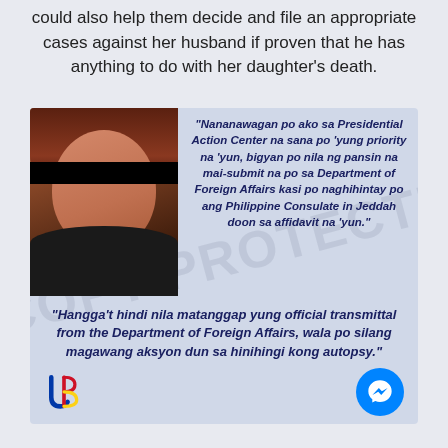could also help them decide and file an appropriate cases against her husband if proven that he has anything to do with her daughter's death.
[Figure (screenshot): Social media card with a woman's photo (eyes blacked out) on the left and a bold italic quote in Filipino/Tagalog: 'Nananawagan po ako sa Presidential Action Center na sana po yung priority na yun, bigyan po nila ng pansin na mai-submit na po sa Department of Foreign Affairs kasi po naghihintay po ang Philippine Consulate in Jeddah doon sa affidavit na yun.' Below the photo: 'Hangga't hindi nila matanggap yung official transmittal from the Department of Foreign Affairs, wala po silang magawang aksyon dun sa hinihingi kong autopsy.' A logo (JB with Philippine flag colors) is in the bottom left and a Messenger button in the bottom right.]